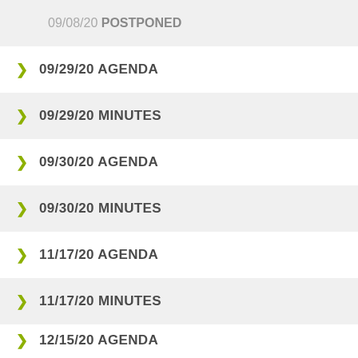09/08/20 POSTPONED
09/29/20 AGENDA
09/29/20 MINUTES
09/30/20 AGENDA
09/30/20 MINUTES
11/17/20 AGENDA
11/17/20 MINUTES
12/15/20 AGENDA